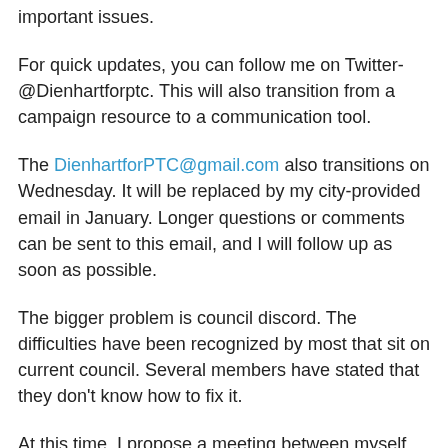important issues.
For quick updates, you can follow me on Twitter- @Dienhartforptc. This will also transition from a campaign resource to a communication tool.
The DienhartforPTC@gmail.com also transitions on Wednesday. It will be replaced by my city-provided email in January. Longer questions or comments can be sent to this email, and I will follow up as soon as possible.
The bigger problem is council discord. The difficulties have been recognized by most that sit on current council. Several members have stated that they don't know how to fix it.
At this time, I propose a meeting between myself, Mayor Haddix and Councilman Imker. Time is of the essence. Once I